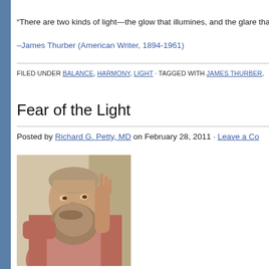“There are two kinds of light—the glow that illumines, and the glare that o…
–James Thurber (American Writer, 1894-1961)
FILED UNDER BALANCE, HARMONY, LIGHT · TAGGED WITH JAMES THURBER, …
Fear of the Light
Posted by Richard G. Petty, MD on February 28, 2011 · Leave a Co…
[Figure (photo): Detail of Plato from Raphael's The School of Athens, showing an elderly bearded man with raised hand wearing robes]